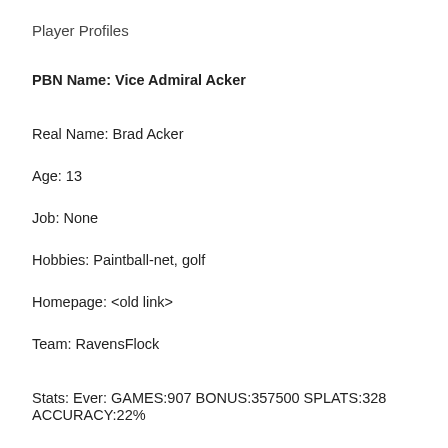Player Profiles
PBN Name: Vice Admiral Acker
Real Name: Brad Acker
Age: 13
Job: None
Hobbies: Paintball-net, golf
Homepage: <old link>
Team: RavensFlock
Stats: Ever: GAMES:907 BONUS:357500 SPLATS:328 ACCURACY:22%